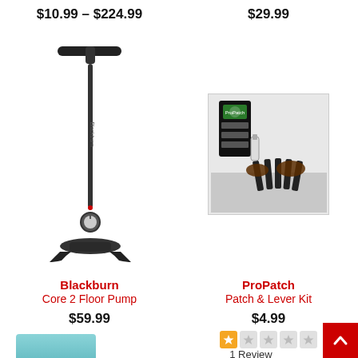$10.99 – $224.99
$29.99
[Figure (photo): Blackburn Core 2 Floor Pump — tall black floor pump with T-handle and pressure gauge at base]
Blackburn
Core 2 Floor Pump
$59.99
[Figure (photo): ProPatch Patch & Lever Kit — packaging with tire levers and patches on a flat surface]
ProPatch
Patch & Lever Kit
$4.99
1 Review